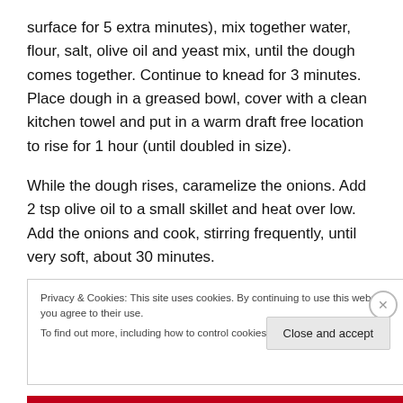surface for 5 extra minutes), mix together water, flour, salt, olive oil and yeast mix, until the dough comes together. Continue to knead for 3 minutes. Place dough in a greased bowl, cover with a clean kitchen towel and put in a warm draft free location to rise for 1 hour (until doubled in size).
While the dough rises, caramelize the onions. Add 2 tsp olive oil to a small skillet and heat over low. Add the onions and cook, stirring frequently, until very soft, about 30 minutes.
Privacy & Cookies: This site uses cookies. By continuing to use this website, you agree to their use.
To find out more, including how to control cookies, see here: Cookie Policy
Close and accept